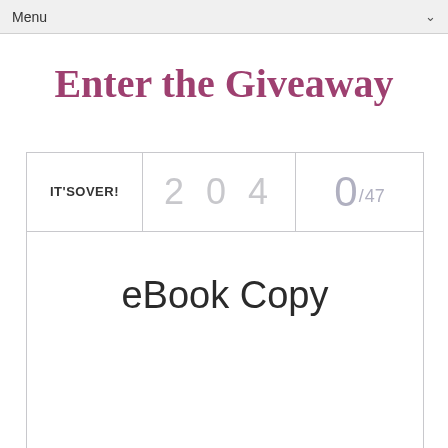Menu
Enter the Giveaway
| IT'S OVER! | 2 0 4 | 0/47 |
| --- | --- | --- |
|  | eBook Copy |  |